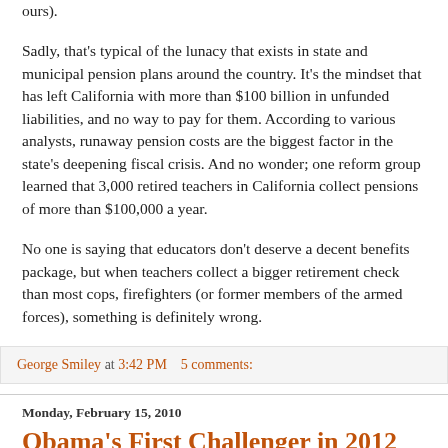ours).
Sadly, that's typical of the lunacy that exists in state and municipal pension plans around the country. It's the mindset that has left California with more than $100 billion in unfunded liabilities, and no way to pay for them. According to various analysts, runaway pension costs are the biggest factor in the state's deepening fiscal crisis. And no wonder; one reform group learned that 3,000 retired teachers in California collect pensions of more than $100,000 a year.
No one is saying that educators don't deserve a decent benefits package, but when teachers collect a bigger retirement check than most cops, firefighters (or former members of the armed forces), something is definitely wrong.
George Smiley at 3:42 PM    5 comments:
Monday, February 15, 2010
Obama's First Challenger in 2012